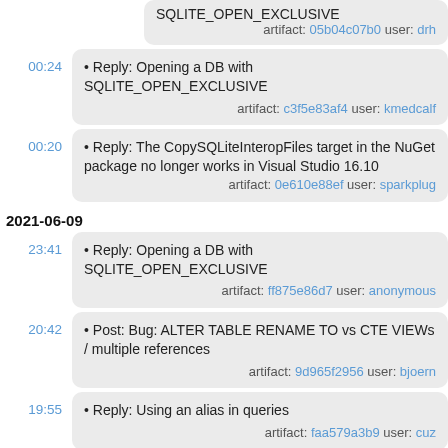SQLITE_OPEN_EXCLUSIVE — artifact: 05b04c07b0 user: drh
• Reply: Opening a DB with SQLITE_OPEN_EXCLUSIVE — artifact: c3f5e83af4 user: kmedcalf
• Reply: The CopySQLiteInteropFiles target in the NuGet package no longer works in Visual Studio 16.10 — artifact: 0e610e88ef user: sparkplug
2021-06-09
• Reply: Opening a DB with SQLITE_OPEN_EXCLUSIVE — artifact: ff875e86d7 user: anonymous
• Post: Bug: ALTER TABLE RENAME TO vs CTE VIEWs / multiple references — artifact: 9d965f2956 user: bjoern
• Reply: Using an alias in queries — artifact: faa579a3b9 user: cuz
18:20